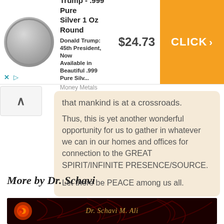[Figure (infographic): Advertisement banner for President Trump .999 Pure Silver 1 Oz Round coin showing coin image, description, price $24.73, and orange CLICK button]
that mankind is at a crossroads.
Thus, this is yet another wonderful opportunity for us to gather in whatever we can in our homes and offices for connection to the GREAT SPIRIT/INFINITE PRESENCE/SOURCE.
Let there be PEACE among us all.
More by Dr. Schavi
[Figure (photo): Dark red abstract image with glowing orb, decorative swirling lines in red, and text reading Dr. Schavi M. Ali in golden italic script]